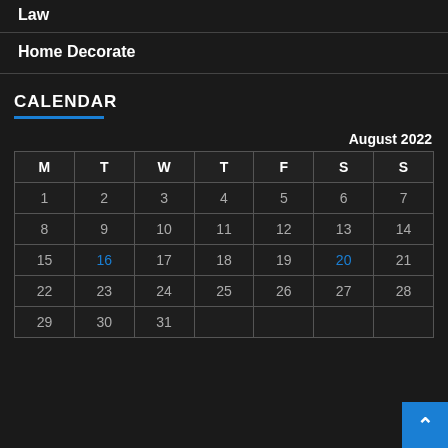Law
Home Decorate
CALENDAR
| M | T | W | T | F | S | S |
| --- | --- | --- | --- | --- | --- | --- |
| 1 | 2 | 3 | 4 | 5 | 6 | 7 |
| 8 | 9 | 10 | 11 | 12 | 13 | 14 |
| 15 | 16 | 17 | 18 | 19 | 20 | 21 |
| 22 | 23 | 24 | 25 | 26 | 27 | 28 |
| 29 | 30 | 31 |  |  |  |  |